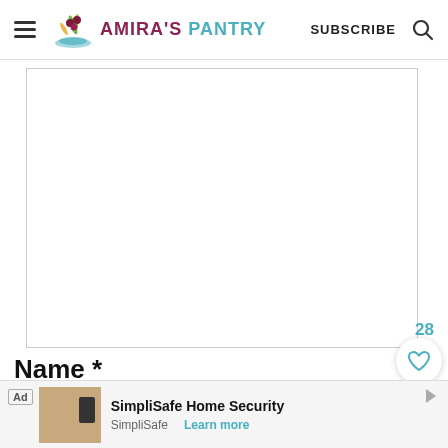Amira's Pantry — SUBSCRIBE
[Figure (other): White blank image placeholder area with border]
28
Name *
[Figure (other): Ad banner: SimpliSafe Home Security — SimpliSafe — Learn more]